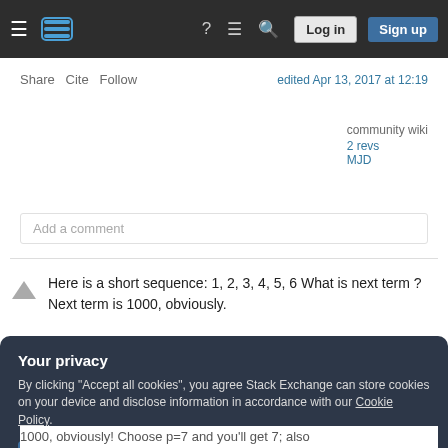Stack Exchange navigation bar with logo, hamburger, icons, Log in and Sign up buttons
Share  Cite  Follow    edited Apr 13, 2017 at 12:19
community wiki
2 revs
MJD
Add a comment
Here is a short sequence: 1, 2, 3, 4, 5, 6 What is next term ? Next term is 1000, obviously.
Your privacy
By clicking "Accept all cookies", you agree Stack Exchange can store cookies on your device and disclose information in accordance with our Cookie Policy.
Accept all cookies
Customize settings
1000, obviously! Choose p=7 and you'll get 7; also